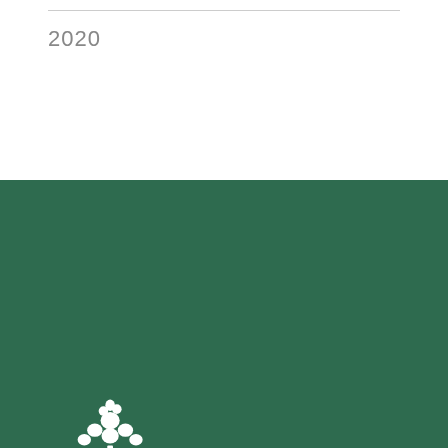2020
[Figure (logo): NCD North Central District logo — white tree icon above large white NCD text and smaller NORTH CENTRAL DISTRICT text, on dark green background]
711 10th Ave South
Minneapolis, MN 55415
ncd@ncdefca.org
612-338-1716